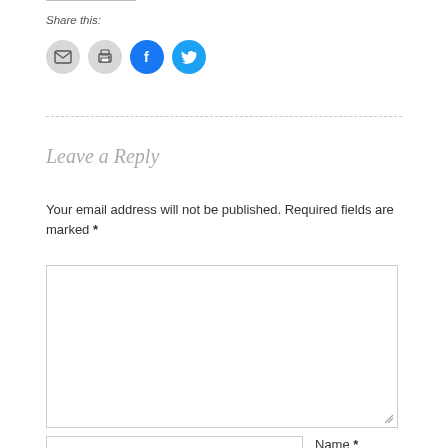Share this:
[Figure (infographic): Row of four circular social sharing icons: email (gray), print (gray), Facebook (blue), Twitter (light blue)]
Leave a Reply
Your email address will not be published. Required fields are marked *
[Figure (screenshot): Large comment text area input box with resize handle]
[Figure (screenshot): Name input text field]
Name *